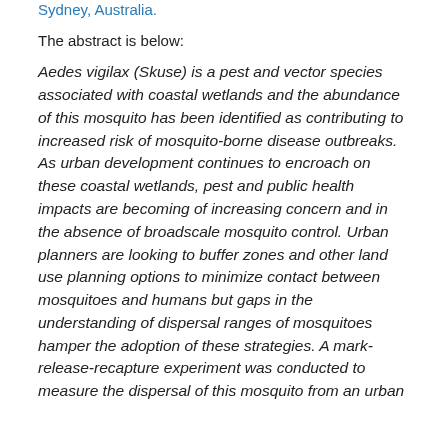Sydney, Australia.
The abstract is below:
Aedes vigilax (Skuse) is a pest and vector species associated with coastal wetlands and the abundance of this mosquito has been identified as contributing to increased risk of mosquito-borne disease outbreaks. As urban development continues to encroach on these coastal wetlands, pest and public health impacts are becoming of increasing concern and in the absence of broadscale mosquito control. Urban planners are looking to buffer zones and other land use planning options to minimize contact between mosquitoes and humans but gaps in the understanding of dispersal ranges of mosquitoes hamper the adoption of these strategies. A mark-release-recapture experiment was conducted to measure the dispersal of this mosquito from an urban